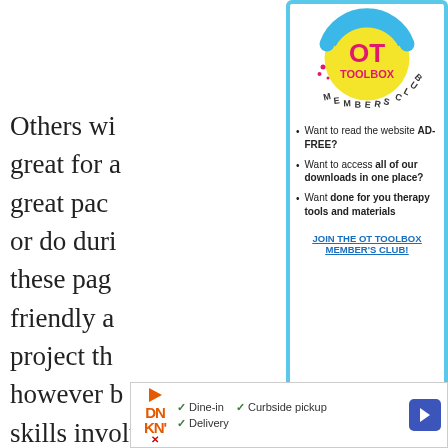Others wi... great for a... great pac... or do duri... these pag... friendly a... project th... however b... skills involved in writing on paper. However you choose to motivate your lear...
[Figure (logo): OT Toolbox Members Club logo — yellow circle with blue top arc, pink text reading TOOLBOX MEMBERS CLUB, pink decorative splashes]
Want to read the website AD-FREE?
Want to access all of our downloads in one place?
Want done for you therapy tools and materials
JOIN THE OT TOOLBOX MEMBER'S CLUB!
[Figure (screenshot): Dunkin Donuts ad banner showing logo, Dine-in, Curbside pickup, Delivery options with checkmarks and blue arrow icon]